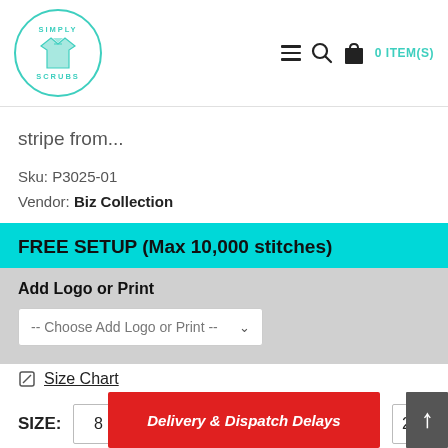Simply Scrubs — Navigation header with logo, hamburger, search, and cart (0 ITEM(S))
stripe from...
Sku: P3025-01
Vendor: Biz Collection
FREE SETUP (Max 10,000 stitches)
Add Logo or Print
-- Choose Add Logo or Print --
Size Chart
SIZE:  8  22